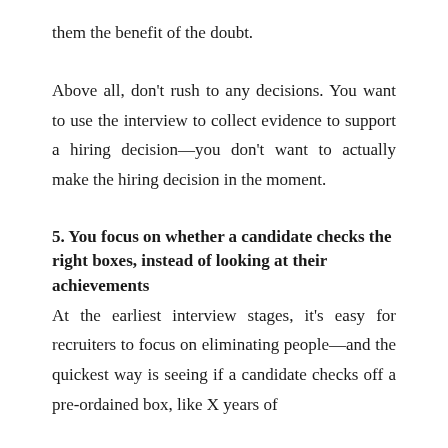them the benefit of the doubt.
Above all, don't rush to any decisions. You want to use the interview to collect evidence to support a hiring decision—you don't want to actually make the hiring decision in the moment.
5. You focus on whether a candidate checks the right boxes, instead of looking at their achievements
At the earliest interview stages, it's easy for recruiters to focus on eliminating people—and the quickest way is seeing if a candidate checks off a pre-ordained box, like X years of